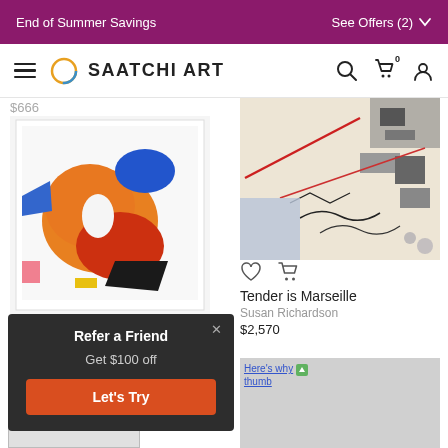End of Summer Savings | See Offers (2)
SAATCHI ART
$666
[Figure (photo): Abstract painting with orange, red, blue, black and white shapes on white background, framed]
[Figure (photo): Mixed media artwork 'Tender is Marseille' with collage elements, red lines, dark marks on light background]
Tender is Marseille
Susan Richardson
$2,570
Refer a Friend
Get $100 off
Let's Try
[Figure (photo): Thumbnail image with broken image icon labeled 'Here's why thumb']
[Figure (photo): Thumbnail image with broken image icon labeled '"Gone In Six']